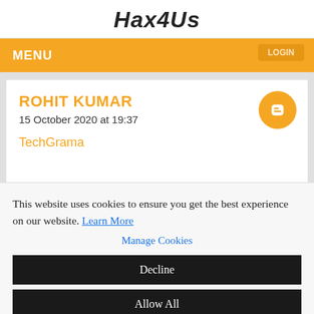Hax4Us
MENU
ROHIT KUMAR
15 October 2020 at 19:37
TechGrama
This website uses cookies to ensure you get the best experience on our website. Learn More
Manage Cookies
Decline
Allow All